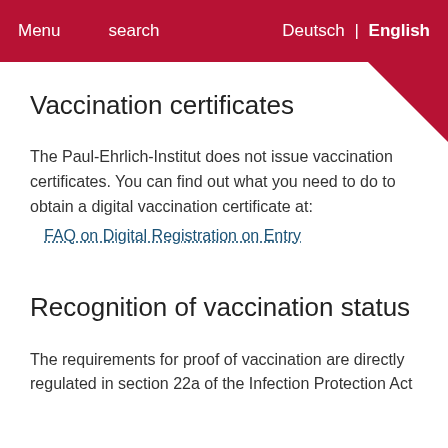Menu  search  Deutsch | English
Vaccination certificates
The Paul-Ehrlich-Institut does not issue vaccination certificates. You can find out what you need to do to obtain a digital vaccination certificate at:
FAQ on Digital Registration on Entry
Recognition of vaccination status
The requirements for proof of vaccination are directly regulated in section 22a of the Infection Protection Act